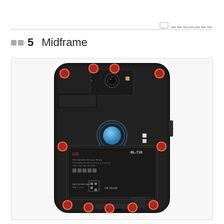□□ 5   Midframe
[Figure (photo): Photo of a smartphone (LG Nexus 5X) with the back cover removed, showing the midframe and internal components including battery labeled BL-T19, NFC coil, camera module, and multiple highlighted screw locations marked with red circles at top corners, top center, middle sides, and bottom row.]